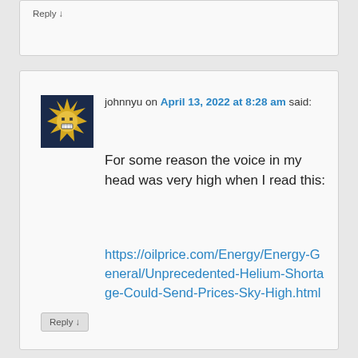Reply ↓
[Figure (illustration): Avatar icon showing an angry/grimacing cartoon face with star-burst yellow/gold shape on dark navy blue background]
johnnyu on April 13, 2022 at 8:28 am said:
For some reason the voice in my head was very high when I read this:
https://oilprice.com/Energy/Energy-General/Unprecedented-Helium-Shortage-Could-Send-Prices-Sky-High.html
Reply ↓